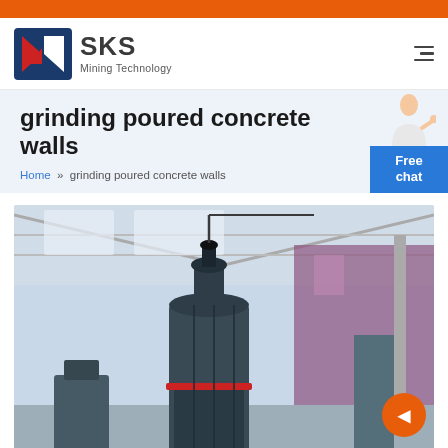[Figure (logo): SKS Mining Technology logo with red and blue shield icon]
grinding poured concrete walls
Home » grinding poured concrete walls
[Figure (photo): Industrial grinding mill machine inside a large warehouse/factory building with high ceilings and steel frame structure]
Free chat